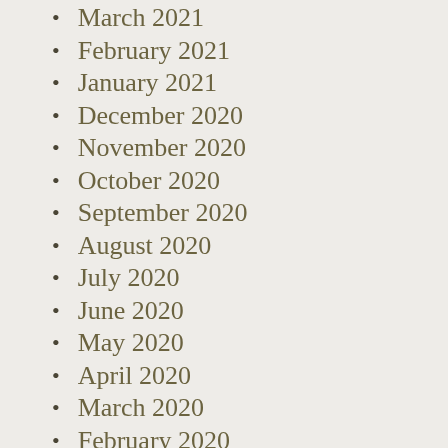March 2021
February 2021
January 2021
December 2020
November 2020
October 2020
September 2020
August 2020
July 2020
June 2020
May 2020
April 2020
March 2020
February 2020
January 2020
December 2019